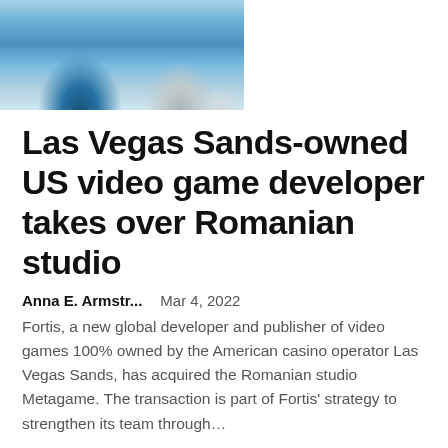[Figure (photo): Partial photo of two people, cropped at top of page]
Las Vegas Sands-owned US video game developer takes over Romanian studio
Anna E. Armstr...    Mar 4, 2022
Fortis, a new global developer and publisher of video games 100% owned by the American casino operator Las Vegas Sands, has acquired the Romanian studio Metagame. The transaction is part of Fortis' strategy to strengthen its team through...
[Figure (photo): Gray placeholder image at bottom of page]